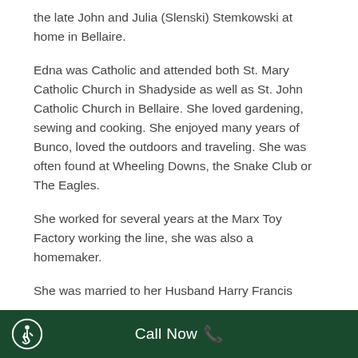the late John and Julia (Slenski) Stemkowski at home in Bellaire.
Edna was Catholic and attended both St. Mary Catholic Church in Shadyside as well as St. John Catholic Church in Bellaire. She loved gardening, sewing and cooking. She enjoyed many years of Bunco, loved the outdoors and traveling. She was often found at Wheeling Downs, the Snake Club or The Eagles.
She worked for several years at the Marx Toy Factory working the line, she was also a homemaker.
She was married to her Husband Harry Francis
Call Now